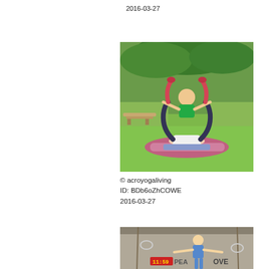2016-03-27
[Figure (photo): Three people performing acro yoga in a park on green grass with trees in background. One person lies on back on a pink yoga mat, supporting two others with feet and hands in an acrobatic pose.]
© acroyogaliving
ID: BDb6oZhCOWE
2016-03-27
[Figure (photo): Person in a gym/crossfit facility with gymnastics rings, standing with arms outstretched. Signage partially visible in background.]